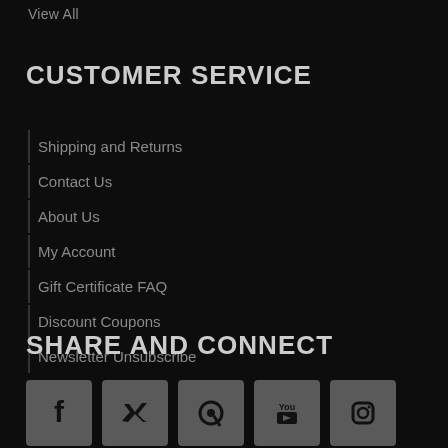View All
CUSTOMER SERVICE
Shipping and Returns
Contact Us
About Us
My Account
Gift Certificate FAQ
Discount Coupons
Newsletter Unsubscribe
SHARE AND CONNECT
[Figure (other): Row of five social media icon buttons: Facebook, Twitter, Pinterest, YouTube, Instagram]